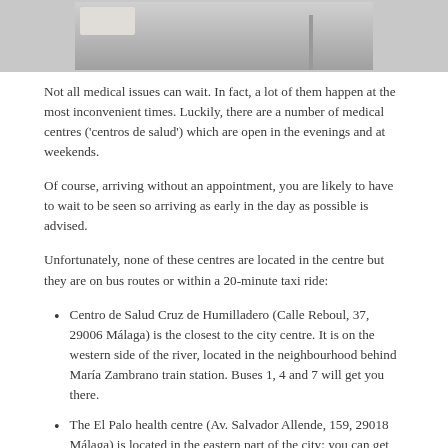[Figure (photo): Outdoor photo showing what appears to be a bus station or public square area with a bench, paved area, and a van/vehicle in the background]
Not all medical issues can wait. In fact, a lot of them happen at the most inconvenient times. Luckily, there are a number of medical centres ('centros de salud') which are open in the evenings and at weekends.
Of course, arriving without an appointment, you are likely to have to wait to be seen so arriving as early in the day as possible is advised.
Unfortunately, none of these centres are located in the centre but they are on bus routes or within a 20-minute taxi ride:
Centro de Salud Cruz de Humilladero (Calle Reboul, 37, 29006 Málaga) is the closest to the city centre. It is on the western side of the river, located in the neighbourhood behind María Zambrano train station. Buses 1, 4 and 7 will get you there.
The El Palo health centre (Av. Salvador Allende, 159, 29018 Málaga) is located in the eastern part of the city: you can get the 3 or 11 bus there – about a 20-minute ride from the Alameda.